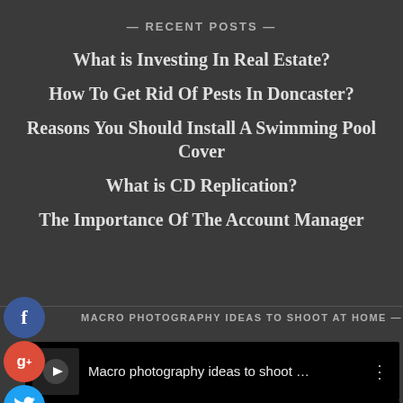— RECENT POSTS —
What is Investing In Real Estate?
How To Get Rid Of Pests In Doncaster?
Reasons You Should Install A Swimming Pool Cover
What is CD Replication?
The Importance Of The Account Manager
MACRO PHOTOGRAPHY IDEAS TO SHOOT AT HOME —
[Figure (screenshot): Video player thumbnail showing 'Macro photography ideas to shoot ...' with options menu dots]